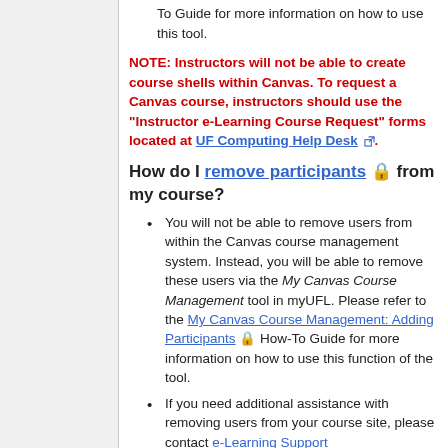To Guide for more information on how to use this tool.
NOTE: Instructors will not be able to create course shells within Canvas. To request a Canvas course, instructors should use the "Instructor e-Learning Course Request" forms located at UF Computing Help Desk.
How do I remove participants from my course?
You will not be able to remove users from within the Canvas course management system. Instead, you will be able to remove these users via the My Canvas Course Management tool in myUFL. Please refer to the My Canvas Course Management: Adding Participants How-To Guide for more information on how to use this function of the tool.
If you need additional assistance with removing users from your course site, please contact e-Learning Support